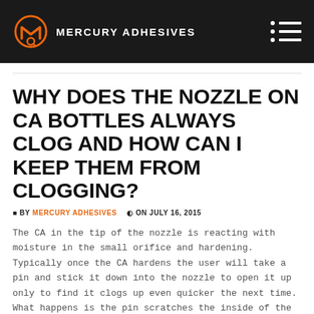MERCURY ADHESIVES
WHY DOES THE NOZZLE ON CA BOTTLES ALWAYS CLOG AND HOW CAN I KEEP THEM FROM CLOGGING?
BY MERCURY ADHESIVES  ON JULY 16, 2015
The CA in the tip of the nozzle is reacting with moisture in the small orifice and hardening. Typically once the CA hardens the user will take a pin and stick it down into the nozzle to open it up only to find it clogs up even quicker the next time. What happens is the pin scratches the inside of the nozzle, which allows even more CA to stay in